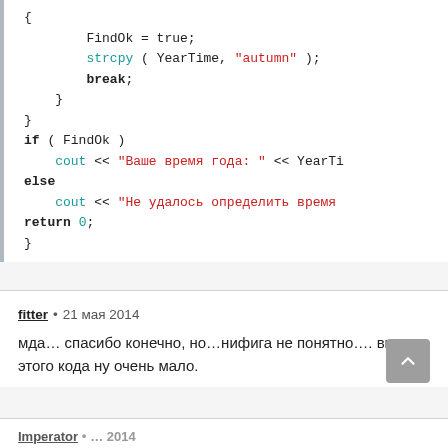[Figure (screenshot): Code snippet in C++ showing FindOk assignment, strcpy call with 'autumn', break statement, closing braces, if/else block with cout statements, and return 0.]
fitter • 21 мая 2014
мда… спасибо конечно, но…нифига не понятно…. видно этого кода ну очень мало.